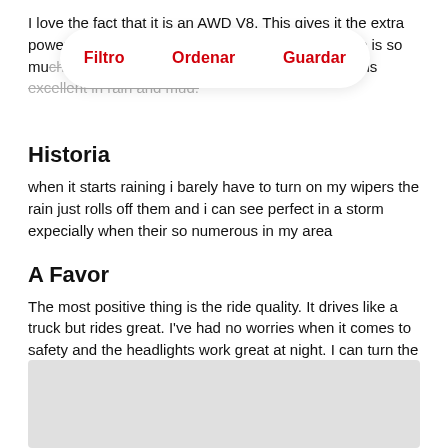I love the fact that it is an AWD V8. This gives it the extra power and grip [overlay] t thing is there is so mu[ch] [text obscured]. So far its performance is excellent in rain and mud.
[Figure (other): UI overlay pill with three red text options: Filtro, Ordenar, Guardar on a white rounded rectangle with shadow]
Historia
when it starts raining i barely have to turn on my wipers the rain just rolls off them and i can see perfect in a storm expecially when their so numerous in my area
A Favor
The most positive thing is the ride quality. It drives like a truck but rides great. I've had no worries when it comes to safety and the headlights work great at night. I can turn the music up all the way and not have it blasting other cars around me. Plenty of things are perfect on this vehicle.
[Figure (other): Gray rectangle placeholder image at the bottom of the page]